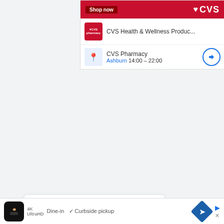[Figure (screenshot): CVS advertisement banner showing Shop now button, CVS logo, CVS Health & Wellness Products listing, and CVS Pharmacy location in Ashburn with hours 14:00-22:00]
Table of Contents
10). WADI BANI KHALID (OMAN)
9). EIN GEDI (ISRAEL)
[Figure (screenshot): Video player overlay showing 'No compatible source was found for this media.' message with gardens background image and X close button]
[Figure (screenshot): Bottom advertisement bar showing 4K icon, Dine-in with checkmark, Curbside pickup text, navigation arrow, and ad icons]